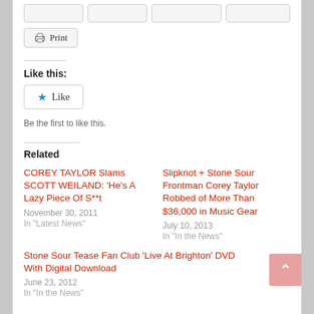[Figure (screenshot): Print button with printer icon]
Like this:
[Figure (screenshot): Like button with blue star icon]
Be the first to like this.
Related
COREY TAYLOR Slams SCOTT WEILAND: 'He's A Lazy Piece Of S**t
November 30, 2011
In "Latest News"
Slipknot + Stone Sour Frontman Corey Taylor Robbed of More Than $36,000 in Music Gear
July 10, 2013
In "In the News"
Stone Sour Tease Fan Club 'Live At Brighton' DVD With Digital Download
June 23, 2012
In "In the News"